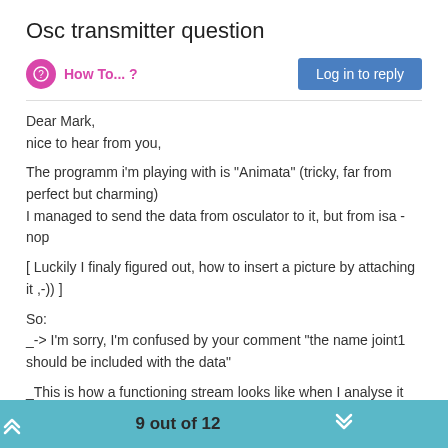Osc transmitter question
How To... ?
Log in to reply
Dear Mark,
nice to hear from you,

The programm i'm playing with is "Animata" (tricky, far from perfect but charming)
I managed to send the data from osculator to it, but from isa -
nop

[ Luckily I finaly figured out, how to insert a picture by attaching it ,-)) ]

So:
_-> I'm sorry, I'm confused by your comment "the name joint1 should be included with the data"

_This is how a functioning stream looks like when I analyse it with "Stream Setup":
(comming out of Osculator).
9 out of 12